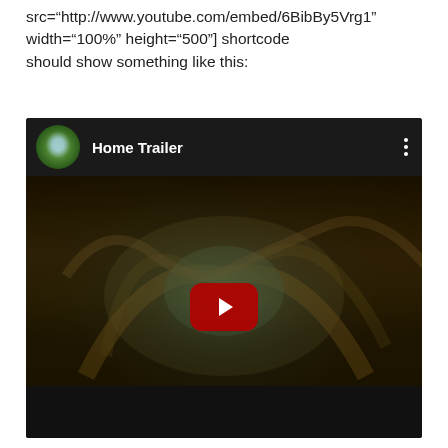src="http://www.youtube.com/embed/6BibBy5Vrg1" width="100%" height="500"] shortcode should show something like this:
[Figure (screenshot): Screenshot of a YouTube embedded video player showing 'Home Trailer' with a channel thumbnail, video title, three-dot menu, and a play button over a dark fantasy artwork background with a bottom black bar.]